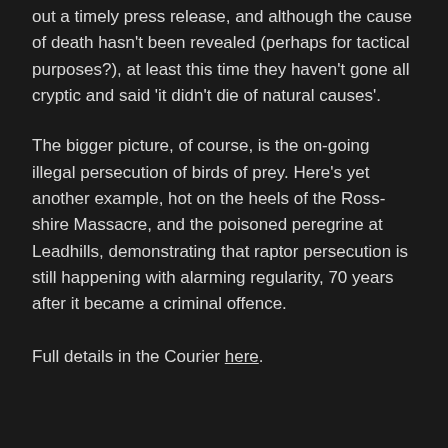out a timely press release, and although the cause of death hasn't been revealed (perhaps for tactical purposes?), at least this time they haven't gone all cryptic and said 'it didn't die of natural causes'.
The bigger picture, of course, is the on-going illegal persecution of birds of prey. Here's yet another example, hot on the heels of the Ross-shire Massacre, and the poisoned peregrine at Leadhills, demonstrating that raptor persecution is still happening with alarming regularity, 70 years after it became a criminal offence.
Full details in the Courier here.